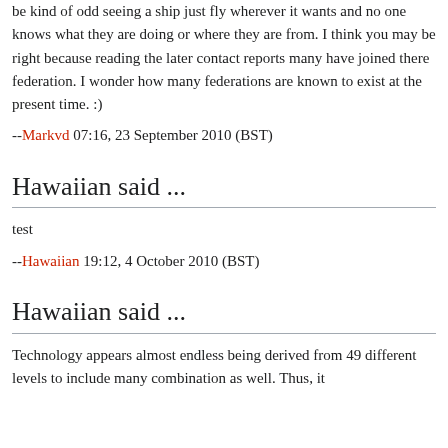be kind of odd seeing a ship just fly wherever it wants and no one knows what they are doing or where they are from. I think you may be right because reading the later contact reports many have joined there federation. I wonder how many federations are known to exist at the present time. :)
--Markvd 07:16, 23 September 2010 (BST)
Hawaiian said ...
test
--Hawaiian 19:12, 4 October 2010 (BST)
Hawaiian said ...
Technology appears almost endless being derived from 49 different levels to include many combination as well. Thus, it